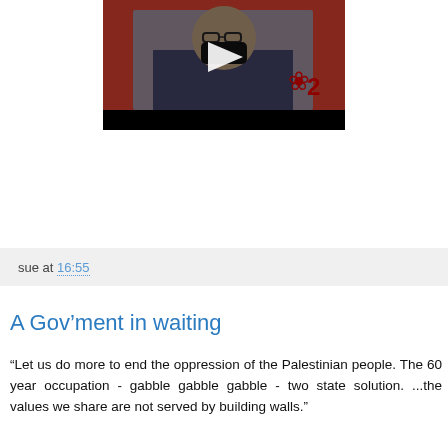[Figure (screenshot): Video thumbnail showing a man wearing glasses and a dark jacket, sitting in front of a red background with a rose logo. A play button triangle is overlaid in the center.]
sue at 16:55
A Gov’ment in waiting
“Let us do more to end the oppression of the Palestinian people. The 60 year occupation - gabble gabble gabble - two state solution. ...the values we share are not served by building walls.”